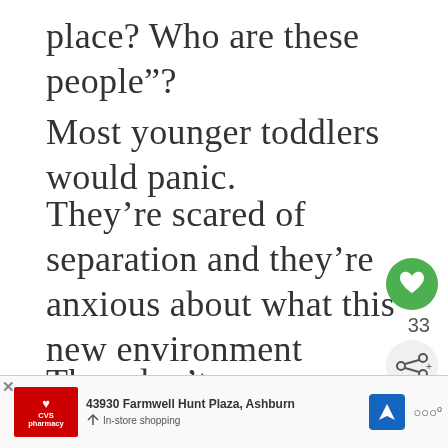place? Who are these people”?
Most younger toddlers would panic.
They’re scared of separation and they’re anxious about what this new environment would entail.
They don’t understand why you’re leaving, why they’re left behind, what these new people and new places
[Figure (screenshot): Heart/like button (green circle with heart icon), count 33, and share button]
[Figure (infographic): What's Next panel: '10 Keys To A Happy...' with thumbnail image]
[Figure (screenshot): Bottom ad bar: CVS Pharmacy ad showing '43930 Farmwell Hunt Plaza, Ashburn' with navigation icon and 'In-store shopping' text]